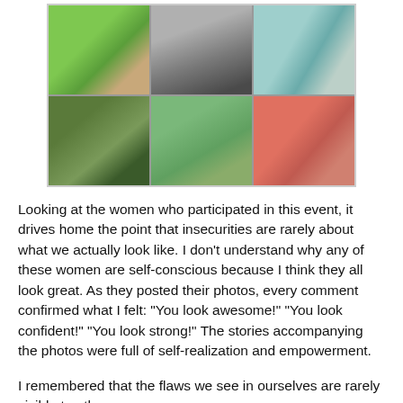[Figure (photo): A 2x3 grid collage of six women in athletic/sports bra attire, outdoor settings, various poses and expressions.]
Looking at the women who participated in this event, it drives home the point that insecurities are rarely about what we actually look like. I don't understand why any of these women are self-conscious because I think they all look great. As they posted their photos, every comment confirmed what I felt: "You look awesome!" "You look confident!" "You look strong!" The stories accompanying the photos were full of self-realization and empowerment.
I remembered that the flaws we see in ourselves are rarely visible to others.